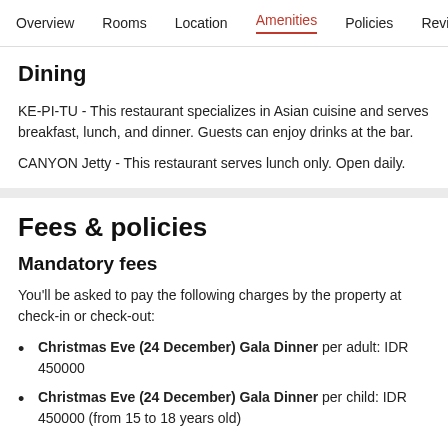Overview  Rooms  Location  Amenities  Policies  Reviews
Dining
KE-PI-TU - This restaurant specializes in Asian cuisine and serves breakfast, lunch, and dinner. Guests can enjoy drinks at the bar.
CANYON Jetty - This restaurant serves lunch only. Open daily.
Fees & policies
Mandatory fees
You'll be asked to pay the following charges by the property at check-in or check-out:
Christmas Eve (24 December) Gala Dinner per adult: IDR 450000
Christmas Eve (24 December) Gala Dinner per child: IDR 450000 (from 15 to 18 years old)